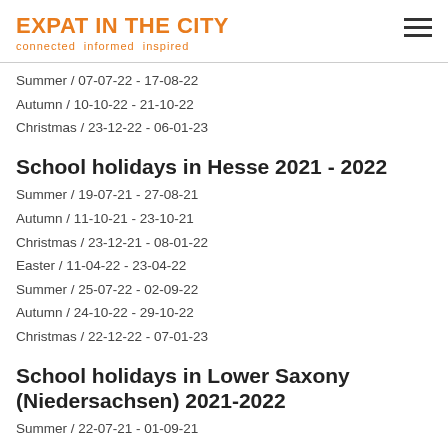EXPAT IN THE CITY
connected informed inspired
Summer / 07-07-22 - 17-08-22
Autumn / 10-10-22 - 21-10-22
Christmas / 23-12-22 - 06-01-23
School holidays in Hesse 2021 - 2022
Summer / 19-07-21 - 27-08-21
Autumn / 11-10-21 - 23-10-21
Christmas / 23-12-21 - 08-01-22
Easter / 11-04-22 - 23-04-22
Summer / 25-07-22 - 02-09-22
Autumn / 24-10-22 - 29-10-22
Christmas / 22-12-22 - 07-01-23
School holidays in Lower Saxony (Niedersachsen) 2021-2022
Summer / 22-07-21 - 01-09-21
Autumn / 18-10-21 - 29-10-21